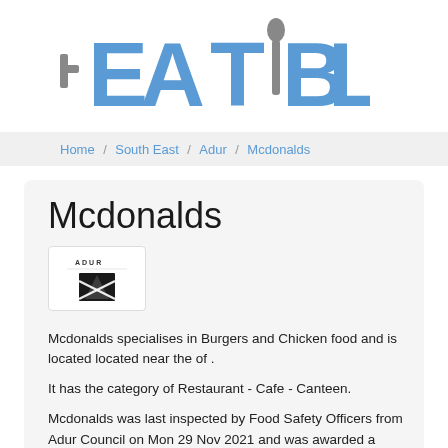[Figure (logo): Eatible logo with blue fork/bracket letters and grey spoon forming the I]
Home / South East / Adur / Mcdonalds
Mcdonalds
[Figure (logo): Adur District Council logo - small badge with ADUR text and stylized graphic]
Mcdonalds specialises in Burgers and Chicken food and is located located near the of .
It has the category of Restaurant - Cafe - Canteen.
Mcdonalds was last inspected by Food Safety Officers from Adur Council on Mon 29 Nov 2021 and was awarded a Food Safety Score of 5 (Very Good).